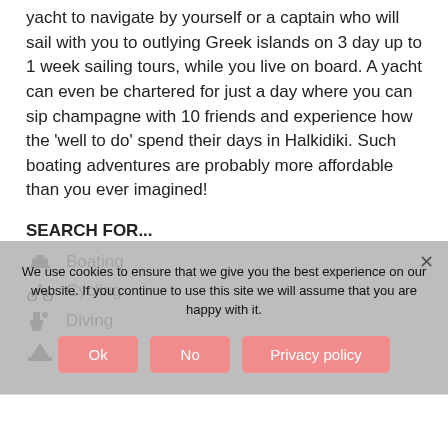yacht to navigate by yourself or a captain who will sail with you to outlying Greek islands on 3 day up to 1 week sailing tours, while you live on board. A yacht can even be chartered for just a day where you can sip champagne with 10 friends and experience how the 'well to do' spend their days in Halkidiki. Such boating adventures are probably more affordable than you ever imagined!
SEARCH FOR...
Boating
Cycling
Diving
Hiking
We use cookies to ensure that we give you the best experience on our website. If you continue to use this site we will assume that you are happy with it.